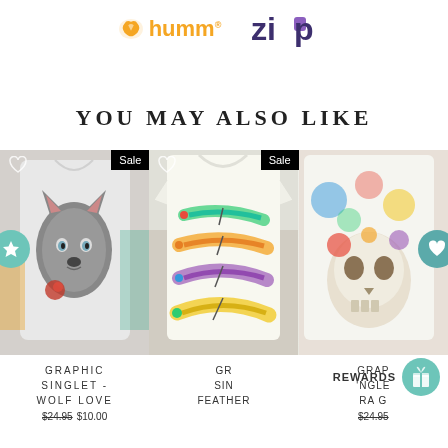[Figure (logo): Humm logo - orange leaf/bird icon with 'humm' text in orange, and Zip logo in dark purple bold text]
YOU MAY ALSO LIKE
[Figure (photo): White graphic singlet with wolf/dog face and rose print, shown on mannequin in store, Sale badge in top right]
GRAPHIC SINGLET - WOLF LOVE
$24.95 $10.00
[Figure (photo): White singlet with colorful feather print, shown on mannequin, Sale badge in top right]
GRAPHIC SINGLET - FEATHER
[Figure (photo): Graphic singlet partially visible on right edge with floral skull print]
GRAPHIC SINGLET - RA
$24.95
REWARDS